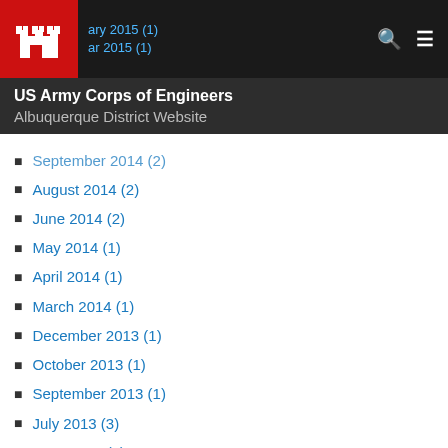US Army Corps of Engineers Albuquerque District Website
September 2014 (2)
August 2014 (2)
June 2014 (2)
May 2014 (1)
April 2014 (1)
March 2014 (1)
December 2013 (1)
October 2013 (1)
September 2013 (1)
July 2013 (3)
June 2013 (2)
May 2013 (1)
April 2013 (2)
March 2013 (1)
December 2012 (1)
September 2012 (1)
July 2012 (1)